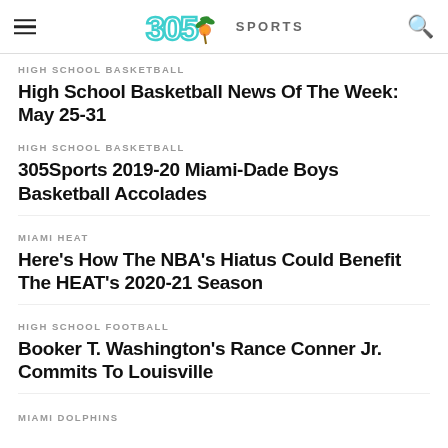305 SPORTS
HIGH SCHOOL BASKETBALL
High School Basketball News Of The Week: May 25-31
HIGH SCHOOL BASKETBALL
305Sports 2019-20 Miami-Dade Boys Basketball Accolades
MIAMI HEAT
Here's How The NBA's Hiatus Could Benefit The HEAT's 2020-21 Season
HIGH SCHOOL FOOTBALL
Booker T. Washington's Rance Conner Jr. Commits To Louisville
MIAMI DOLPHINS